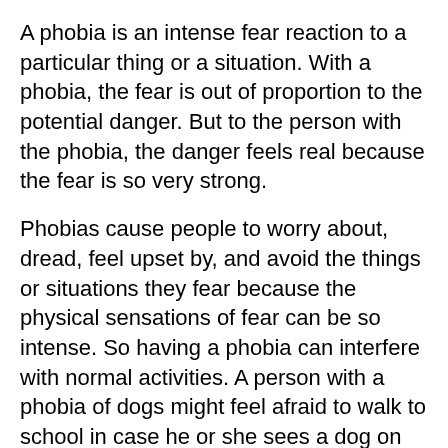A phobia is an intense fear reaction to a particular thing or a situation. With a phobia, the fear is out of proportion to the potential danger. But to the person with the phobia, the danger feels real because the fear is so very strong.
Phobias cause people to worry about, dread, feel upset by, and avoid the things or situations they fear because the physical sensations of fear can be so intense. So having a phobia can interfere with normal activities. A person with a phobia of dogs might feel afraid to walk to school in case he or she sees a dog on the way. Someone with an elevator phobia might avoid a field trip if it involves going on an elevator.
A girl with a phobia of thunderstorms might be afraid to go to school if the weather forecast predicts a storm. She might feel terrible distress and fear about the storm.